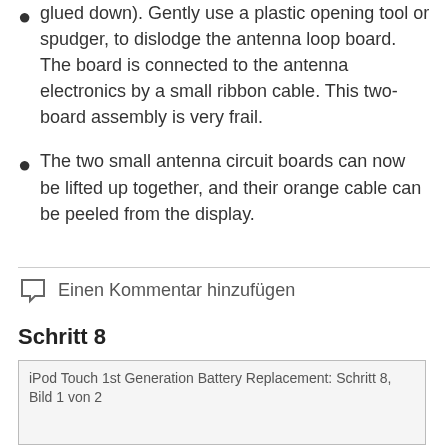The antenna loop board needs to be pried up (it is glued down). Gently use a plastic opening tool or spudger, to dislodge the antenna loop board. The board is connected to the antenna electronics by a small ribbon cable. This two-board assembly is very frail.
The two small antenna circuit boards can now be lifted up together, and their orange cable can be peeled from the display.
Einen Kommentar hinzufügen
Schritt 8
[Figure (photo): iPod Touch 1st Generation Battery Replacement: Schritt 8, Bild 1 von 2]